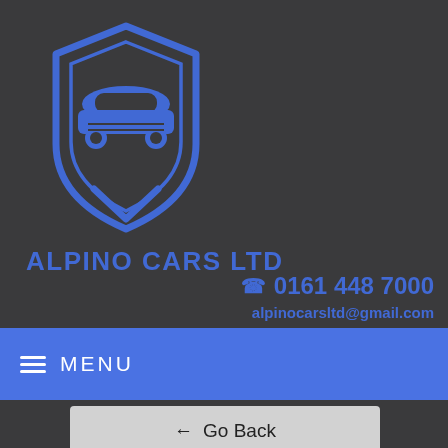[Figure (logo): Alpino Cars Ltd shield/car logo in blue on dark gray background]
ALPINO CARS LTD
0161 448 7000
alpinocarsltd@gmail.com
MENU
← Go Back
Book a Test Drive